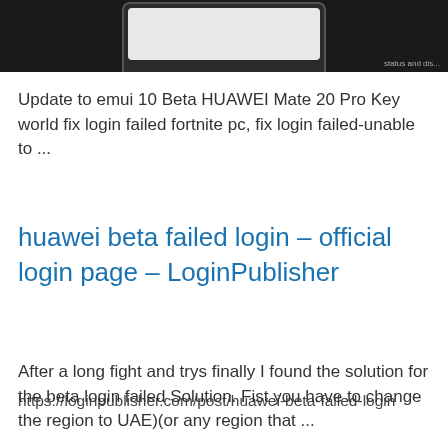[Figure (screenshot): Top portion of a screenshot showing a phone/device screen on a dark background with 'status and dis...' text in bottom right corner]
Update to emui 10 Beta HUAWEI Mate 20 Pro Key world fix login failed fortnite pc, fix login failed-unable to ...
huawei beta failed login – official login page – LoginPublisher
https://loginpublisher.com/post/huawei-beta-failed-login
After a long fight and trys finally I found the solution for the beta login failed Solution. Fist you have to change the region to UAE)(or any region that ...